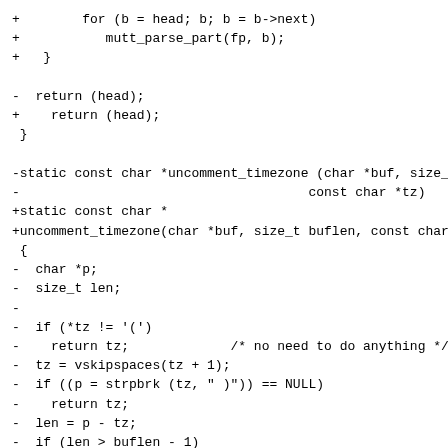+        for (b = head; b; b = b->next)
+           mutt_parse_part(fp, b);
+   }

-  return (head);
+    return (head);
 }

-static const char *uncomment_timezone (char *buf, size_t buflen,
-                                     const char *tz)
+static const char *
+uncomment_timezone(char *buf, size_t buflen, const char *tz)
 {
-  char *p;
-  size_t len;
-
-  if (*tz != '(')
-    return tz;             /* no need to do anything */
-  tz = vskipspaces(tz + 1);
-  if ((p = strpbrk (tz, " )")) == NULL)
-    return tz;
-  len = p - tz;
-  if (len > buflen - 1)
-    len = buflen - 1;
-  memcpy (buf, tz, len);